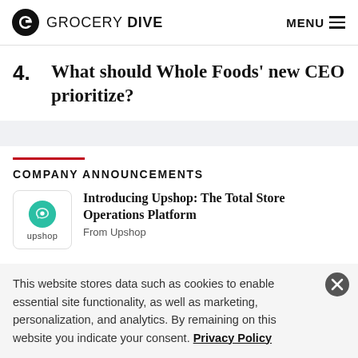GROCERY DIVE  MENU
4. What should Whole Foods' new CEO prioritize?
COMPANY ANNOUNCEMENTS
Introducing Upshop: The Total Store Operations Platform
From Upshop
This website stores data such as cookies to enable essential site functionality, as well as marketing, personalization, and analytics. By remaining on this website you indicate your consent. Privacy Policy